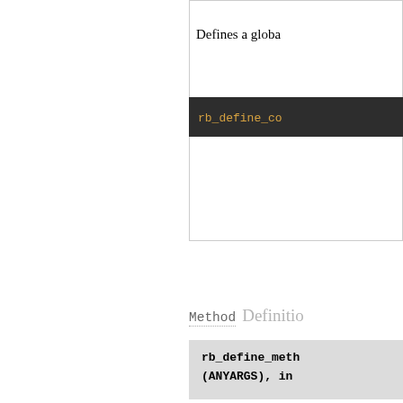Defines a globa
rb_define_co
Method Definitio
rb_define_meth (ANYARGS), in
Defines a method number of argur argc, argv, and s and args, where